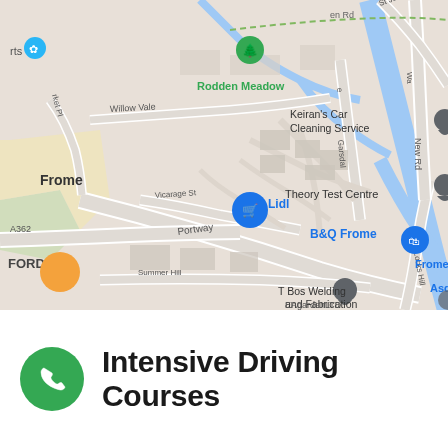[Figure (map): Google Maps view of Frome, UK area showing streets including Portway, A362, Vicarage St, Summer Hill, Locks Hill, Gardsdale. Landmarks include Lidl, Theory Test Centre, B&Q Frome, Frome railway station, Asda Frome Superstore, T Bos Welding and Fabrication, Keiran's Car Cleaning Service, Rodden Meadow park. Map pins visible in blue and dark grey.]
Intensive Driving Courses